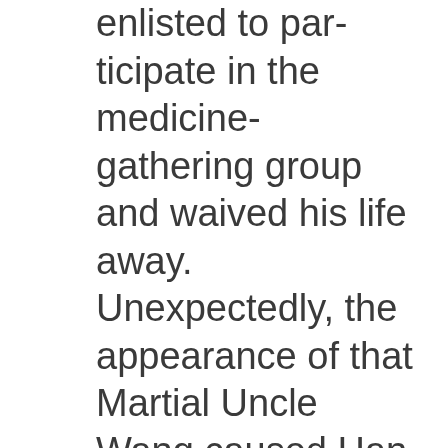enlisted to participate in the medicine-gathering group and waived his life away. Unexpectedly, the appearance of that Martial Uncle Wang caused Han Li to feel greatly surprised and somewhat regretful.
When Martial Uncle Wang saw Han Li, he was even more surprised.
On one hand, he was greatly astonished that this unremarkable...